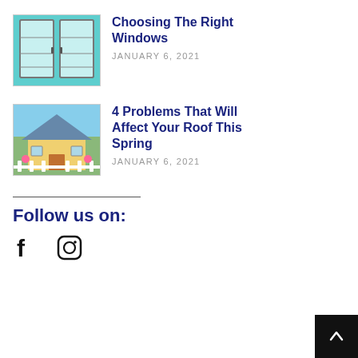[Figure (photo): Thumbnail photo of a window with teal/blue shutters]
Choosing The Right Windows
JANUARY 6, 2021
[Figure (photo): Thumbnail photo of a yellow house with white picket fence and flowers]
4 Problems That Will Affect Your Roof This Spring
JANUARY 6, 2021
Follow us on:
[Figure (illustration): Facebook icon (f) and Instagram icon]
[Figure (illustration): Back to top arrow button]